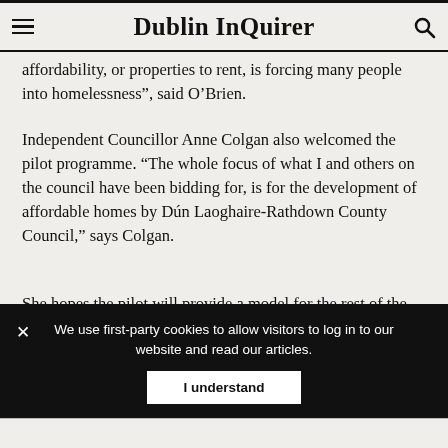Dublin InQuirer
affordability, or properties to rent, is forcing many people into homelessness”, said O’Brien.
Independent Councillor Anne Colgan also welcomed the pilot programme. “The whole focus of what I and others on the council have been bidding for, is for the development of affordable homes by Dún Laoghaire-Rathdown County Council,” says Colgan.
She hopes the pilot will provide a model for the rest of the country, she says.
Colgan said council officials told her by email that they hope to have the project out to tender by the end of
We use first-party cookies to allow visitors to log in to our website and read our articles.